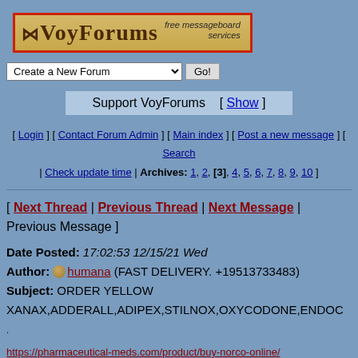[Figure (logo): VoyForums logo with 'free messageboard services' tagline on gold/tan background with red border]
Create a New Forum [dropdown] Go!
Support VoyForums [ Show ]
[ Login ] [ Contact Forum Admin ] [ Main index ] [ Post a new message ] [ Search | Check update time | Archives: 1, 2, [3], 4, 5, 6, 7, 8, 9, 10 ]
[ Next Thread | Previous Thread | Next Message | Previous Message ]
Date Posted: 17:02:53 12/15/21 Wed
Author: humana (FAST DELIVERY. +19513733483)
Subject: ORDER YELLOW XANAX,ADDERALL,ADIPEX,STILNOX,OXYCODONE,ENDOC
https://pharmaceutical-meds.com/product/buy-norco-online/
https://pharmaceutical-meds.com/product/buy-opana-online/
https://pharmaceutical-meds.com/product/buy-oramorph-oral-solution-online/
https://pharmaceutical-meds.com/product/buy-oxycodone-10mg-online/